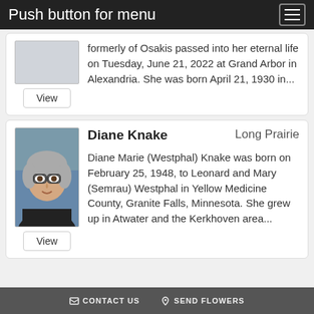Push button for menu
formerly of Osakis passed into her eternal life on Tuesday, June 21, 2022 at Grand Arbor in Alexandria. She was born April 21, 1930 in...
Diane Knake   Long Prairie
Diane Marie (Westphal) Knake was born on February 25, 1948, to Leonard and Mary (Semrau) Westphal in Yellow Medicine County, Granite Falls, Minnesota. She grew up in Atwater and the Kerkhoven area...
CONTACT US   SEND FLOWERS